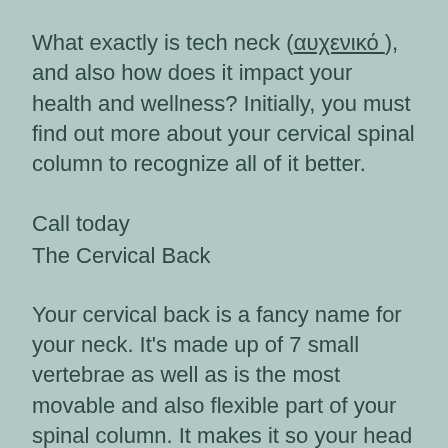What exactly is tech neck (αυχενικό ), and also how does it impact your health and wellness? Initially, you must find out more about your cervical spinal column to recognize all of it better.
Call today
The Cervical Back
Your cervical back is a fancy name for your neck. It's made up of 7 small vertebrae as well as is the most movable and also flexible part of your spinal column. It makes it so your head